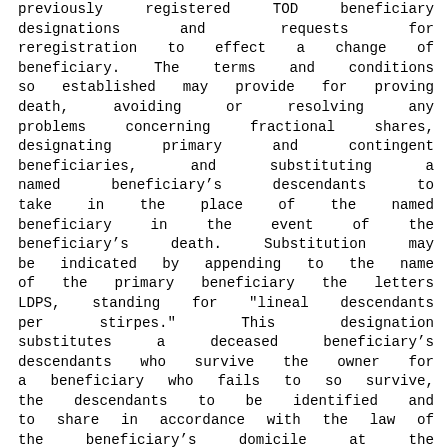previously registered TOD beneficiary designations and requests for reregistration to effect a change of beneficiary. The terms and conditions so established may provide for proving death, avoiding or resolving any problems concerning fractional shares, designating primary and contingent beneficiaries, and substituting a named beneficiary's descendants to take in the place of the named beneficiary in the event of the beneficiary's death. Substitution may be indicated by appending to the name of the primary beneficiary the letters LDPS, standing for "lineal descendants per stirpes." This designation substitutes a deceased beneficiary's descendants who survive the owner for a beneficiary who fails to so survive, the descendants to be identified and to share in accordance with the law of the beneficiary's domicile at the owner's death governing inheritance by descendants of an intestate. Other forms of identifying beneficiaries who are to take on one (1) or more